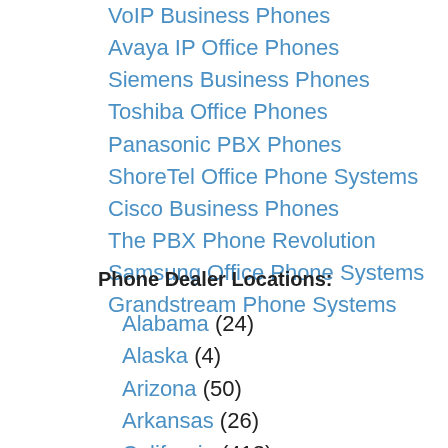VoIP Business Phones
Avaya IP Office Phones
Siemens Business Phones
Toshiba Office Phones
Panasonic PBX Phones
ShoreTel Office Phone Systems
Cisco Business Phones
The PBX Phone Revolution
Samsung Office Phone Systems
Grandstream Phone Systems
Phone Dealer Locations:
Alabama (24)
Alaska (4)
Arizona (50)
Arkansas (26)
California (413)
Colorado (39)
Connecticut (35)
Delaware (5)